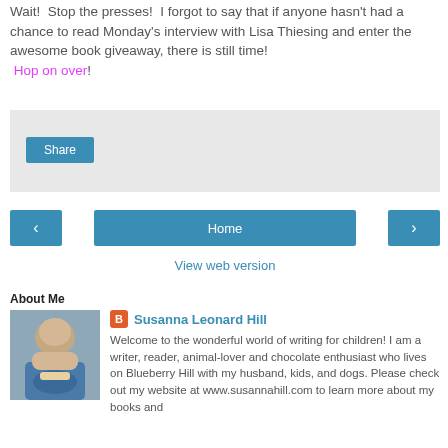Wait! Stop the presses! I forgot to say that if anyone hasn't had a chance to read Monday's interview with Lisa Thiesing and enter the awesome book giveaway, there is still time! Hop on over!
[Figure (screenshot): Social share widget box with a Share button]
[Figure (screenshot): Navigation bar with left arrow, Home button, and right arrow buttons]
View web version
About Me
[Figure (photo): Profile photo of Susanna Leonard Hill]
Susanna Leonard Hill
Welcome to the wonderful world of writing for children! I am a writer, reader, animal-lover and chocolate enthusiast who lives on Blueberry Hill with my husband, kids, and dogs. Please check out my website at www.susannahill.com to learn more about my books and